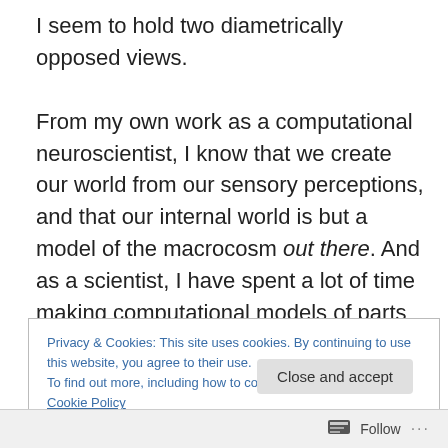I seem to hold two diametrically opposed views. From my own work as a computational neuroscientist, I know that we create our world from our sensory perceptions, and that our internal world is but a model of the macrocosm out there. And as a scientist, I have spent a lot of time making computational models of parts of the brain (and I'm very aware of the sophisticated models like NEST, or those of the Human Brain Project). However, I am very aware of both (i) what these models can and cannot do, and (ii) just how limited these models are when
Privacy & Cookies: This site uses cookies. By continuing to use this website, you agree to their use. To find out more, including how to control cookies, see here: Cookie Policy
Close and accept
Follow